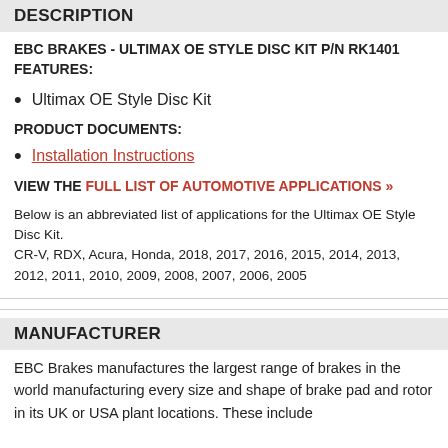DESCRIPTION
EBC BRAKES - ULTIMAX OE STYLE DISC KIT P/N RK1401 FEATURES:
Ultimax OE Style Disc Kit
PRODUCT DOCUMENTS:
Installation Instructions
VIEW THE FULL LIST OF AUTOMOTIVE APPLICATIONS »
Below is an abbreviated list of applications for the Ultimax OE Style Disc Kit.
CR-V, RDX, Acura, Honda, 2018, 2017, 2016, 2015, 2014, 2013, 2012, 2011, 2010, 2009, 2008, 2007, 2006, 2005
MANUFACTURER
EBC Brakes manufactures the largest range of brakes in the world manufacturing every size and shape of brake pad and rotor in its UK or USA plant locations. These include